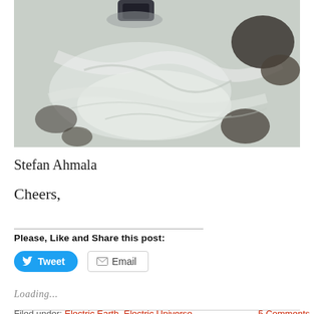[Figure (photo): Outdoor rocky terrain with ice/snow and dark rocks, person's boot visible at top edge]
Stefan Ahmala
Cheers,
Please, Like and Share this post:
Tweet  Email
Loading...
Filed under: Electric Earth, Electric Universe,  5 Comments